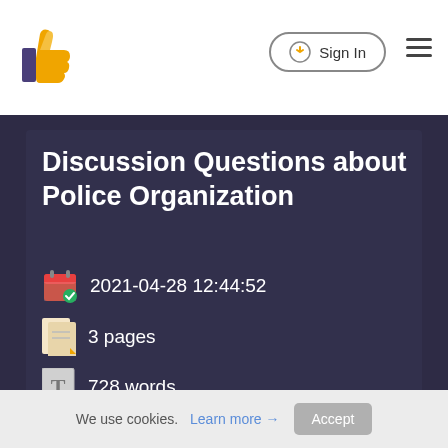Sign In
Discussion Questions about Police Organization
2021-04-28 12:44:52
3 pages
728 words
Print Essay
« Back to list
We use cookies. Learn more → Accept